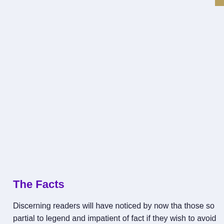The Facts
Discerning readers will have noticed by now that those so partial to legend and impatient of fact would do well to stop here if they wish to avoid disillusionment. Perhaps th